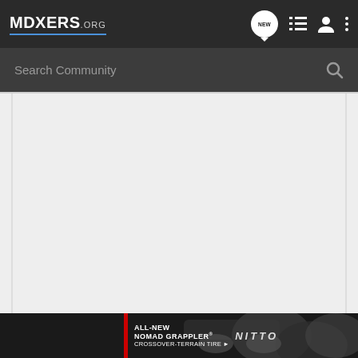MDXERS.ORG — Navigation bar with logo, chat/new icon, list icon, user icon, and more options icon
Search Community
[Figure (screenshot): Main content area — blank grey content region of the MDXERS.ORG community website]
[Figure (infographic): Advertisement banner for Nitto All-New Nomad Grappler Crossover-Terrain Tire with red accent bar and tire imagery]